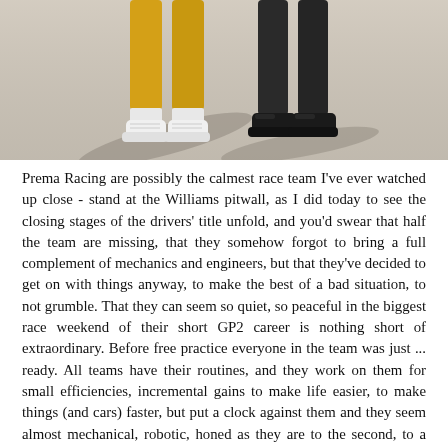[Figure (photo): Bottom portion of two people standing on pavement/tarmac surface, showing legs and feet only. One person wearing yellow/mustard trousers with white sneakers, the other wearing dark trousers with dark shoes. Shadows visible on grey asphalt.]
Prema Racing are possibly the calmest race team I've ever watched up close - stand at the Williams pitwall, as I did today to see the closing stages of the drivers' title unfold, and you'd swear that half the team are missing, that they somehow forgot to bring a full complement of mechanics and engineers, but that they've decided to get on with things anyway, to make the best of a bad situation, to not grumble. That they can seem so quiet, so peaceful in the biggest race weekend of their short GP2 career is nothing short of extraordinary. Before free practice everyone in the team was just ... ready. All teams have their routines, and they work on them for small efficiencies, incremental gains to make life easier, to make things (and cars) faster, but put a clock against them and they seem almost mechanical, robotic, honed as they are to the second, to a gleaming shine. Sometimes it amazes the team too. Antonio Giovinazzi's mechanic and pit board guy has been around GP2 for a long time with a number of teams, but he's never seen anything tick over as well as this group.